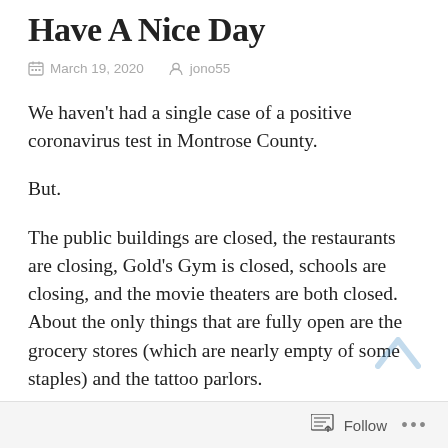Have A Nice Day
March 19, 2020   jono55
We haven't had a single case of a positive coronavirus test in Montrose County.
But.
The public buildings are closed, the restaurants are closing, Gold's Gym is closed, schools are closing, and the movie theaters are both closed. About the only things that are fully open are the grocery stores (which are nearly empty of some staples) and the tattoo parlors.
Maybe this would be the time to get some ink
Follow ...